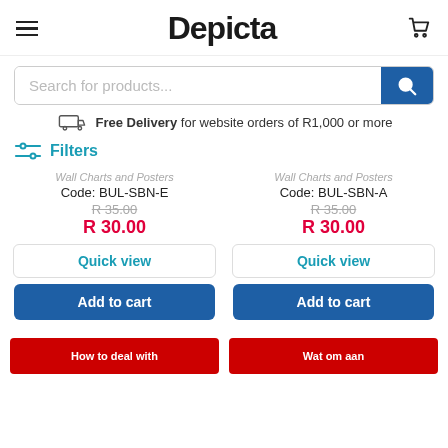Depicta
Search for products...
Free Delivery for website orders of R1,000 or more
Filters
Wall Charts and Posters
Code: BUL-SBN-E
R 35.00
R 30.00
Wall Charts and Posters
Code: BUL-SBN-A
R 35.00
R 30.00
How to deal with
Wat om aan